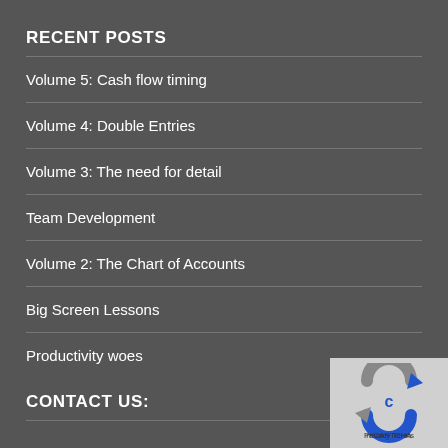RECENT POSTS
Volume 5: Cash flow timing
Volume 4: Double Entries
Volume 3: The need for detail
Team Development
Volume 2: The Chart of Accounts
Big Screen Lessons
Productivity woes
CONTACT US:
[Figure (logo): Circular arrows logo with blue and grey colors, partially visible in bottom right corner]